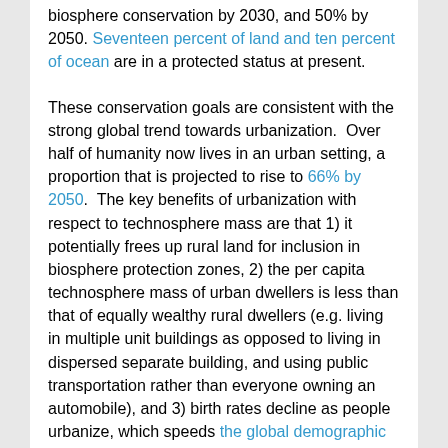biosphere conservation by 2030, and 50% by 2050. Seventeen percent of land and ten percent of ocean are in a protected status at present.
These conservation goals are consistent with the strong global trend towards urbanization. Over half of humanity now lives in an urban setting, a proportion that is projected to rise to 66% by 2050. The key benefits of urbanization with respect to technosphere mass are that 1) it potentially frees up rural land for inclusion in biosphere protection zones, 2) the per capita technosphere mass of urban dwellers is less than that of equally wealthy rural dwellers (e.g. living in multiple unit buildings as opposed to living in dispersed separate building, and using public transportation rather than everyone owning an automobile), and 3) birth rates decline as people urbanize, which speeds the global demographic transition.
Peak technosphere mass will occur sometime after peak global population. That assumes global per capita